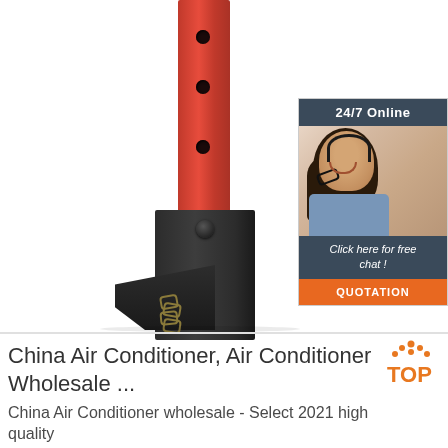[Figure (photo): Close-up photo of a red and black automotive floor jack or engine crane component. The red metal bar extends vertically with three circular holes, connected to a black heavy metal base bracket with a bolt, and a yellow-gold chain hanging below.]
[Figure (infographic): 24/7 Online chat support widget with a photo of a smiling woman wearing a telephone headset, a 'Click here for free chat!' message, and an orange QUOTATION button.]
[Figure (logo): TOP logo with orange dots arranged in a triangle above the word TOP in orange.]
China Air Conditioner, Air Conditioner Wholesale ...
China Air Conditioner wholesale - Select 2021 high quality